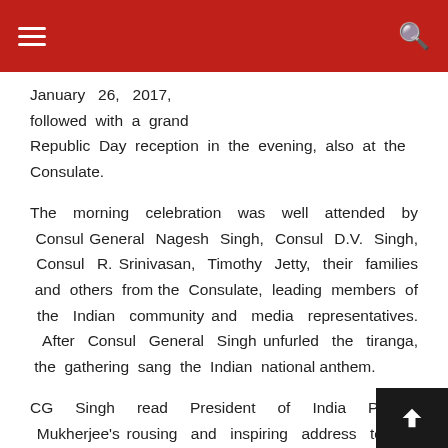January 26, 2017, followed with a grand Republic Day reception in the evening, also at the Consulate.
The morning celebration was well attended by Consul General Nagesh Singh, Consul D.V. Singh, Consul R. Srinivasan, Timothy Jetty, their families and others from the Consulate, leading members of the Indian community and media representatives.  After Consul General Singh unfurled the tiranga, the gathering sang the Indian national anthem.
CG Singh read President of India Pranab Mukherjee's rousing and inspiring address to the nation on eve India's 68 Republic Day, in which he charted the continuing progress by India in economy, infrastructure, education